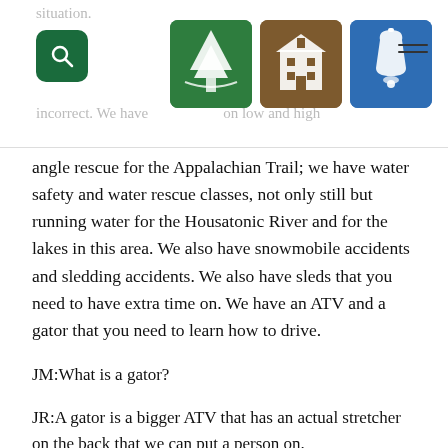situation. incorrect. We have low and high angle rescue for the Appalachian Trail; we have water safety and water rescue classes, not only still but running water for the Housatonic River and for the lakes in this area. We also have snowmobile accidents and sledding accidents. We also have sleds that you need to have extra time on. We have an ATV and a gator that you need to learn how to drive.
JM:What is a gator?
JR:A gator is a bigger ATV that has an actual stretcher on the back that we can put a person on.
JM;How many ambulances do you have?
JR:We own 2 ambulances, 2 rescue trucks, 2 gators,